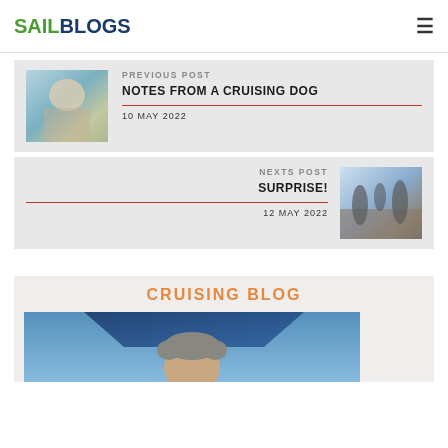SAILBLOGS
PREVIOUS POST
NOTES FROM A CRUISING DOG
10 MAY 2022
NEXTS POST
SURPRISE!
12 MAY 2022
CRUISING BLOG
[Figure (photo): Photo of a person sailing, partially visible face under a blue sail or awning, blue sky background]